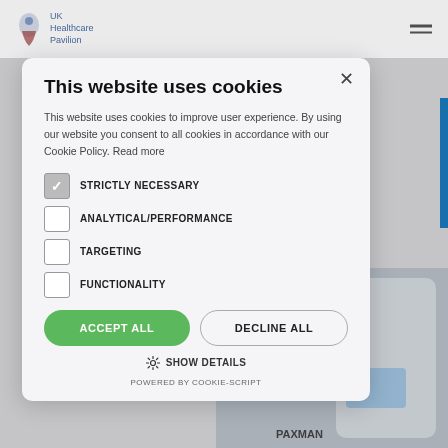[Figure (screenshot): UK Healthcare Pavilion website header with logo and hamburger menu, with a cookie consent modal overlay. Background shows a partial image of a Paxman medical device.]
This website uses cookies
This website uses cookies to improve user experience. By using our website you consent to all cookies in accordance with our Cookie Policy. Read more
STRICTLY NECESSARY (checked)
ANALYTICAL/PERFORMANCE
TARGETING
FUNCTIONALITY
ACCEPT ALL   DECLINE ALL
SHOW DETAILS
POWERED BY COOKIE-SCRIPT